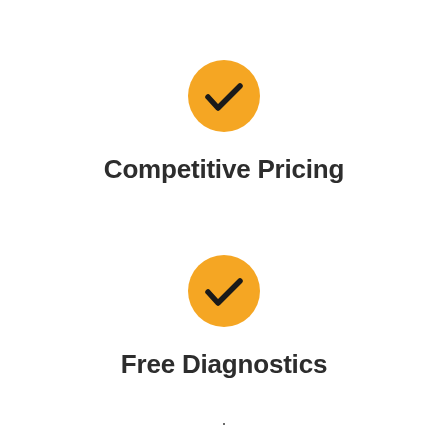[Figure (illustration): Orange circle with a dark checkmark icon]
Competitive Pricing
[Figure (illustration): Orange circle with a dark checkmark icon]
Free Diagnostics